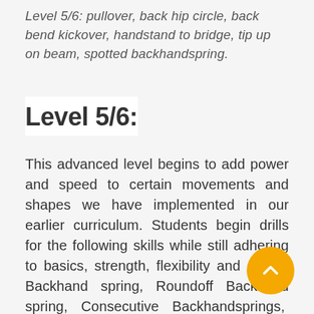Level 5/6: pullover, back hip circle, back bend kickover, handstand to bridge, tip up on beam, spotted backhandspring.
Level 5/6:
This advanced level begins to add power and speed to certain movements and shapes we have implemented in our earlier curriculum. Students begin drills for the following skills while still adhering to basics, strength, flexibility and safety: Backhandspring, Roundoff Backhandspring, Consecutive Backhandsprings, Front handspring, Side Aerial, Roundoff Back Tuck, Front Tuck, Long Hang Pullover, Straddle Offs, Flyaway Drills, Cartwheels on beam, Handstands on beam, Side